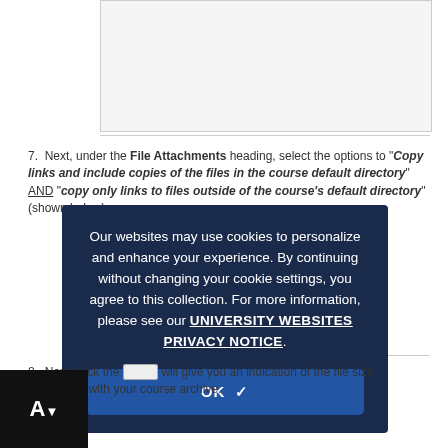[Figure (screenshot): Gray empty box representing a screenshot placeholder at the top of the page]
7. Next, under the File Attachments heading, select the options to "Copy links and include copies of the files in the course default directory" AND "copy only links to files outside of the course's default directory" (shown below):
Our websites may use cookies to personalize and enhance your experience. By continuing without changing your cookie settings, you agree to this collection. For more information, please see our UNIVERSITY WEBSITES PRIVACY NOTICE.
8. Next, click the [button] will give you an indication of the file size associated with your course archive.